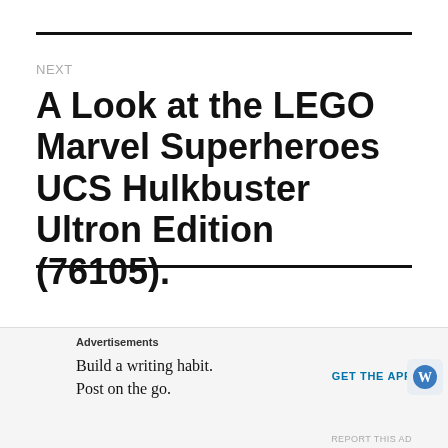NEXT
A Look at the LEGO Marvel Superheroes UCS Hulkbuster Ultron Edition (76105).
OUR SPONSORS
Advertisements
Build a writing habit. Post on the go.
GET THE APP